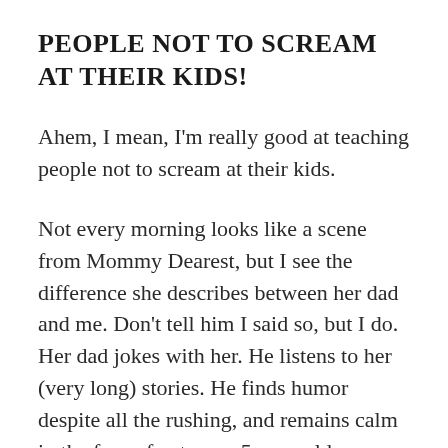PEOPLE NOT TO SCREAM AT THEIR KIDS!
Ahem, I mean, I'm really good at teaching people not to scream at their kids.
Not every morning looks like a scene from Mommy Dearest, but I see the difference she describes between her dad and me. Don't tell him I said so, but I do. Her dad jokes with her. He listens to her (very long) stories. He finds humor despite all the rushing, and remains calm in the face of extreme, 5-year-old stubbornness. He may not get the dishes done,